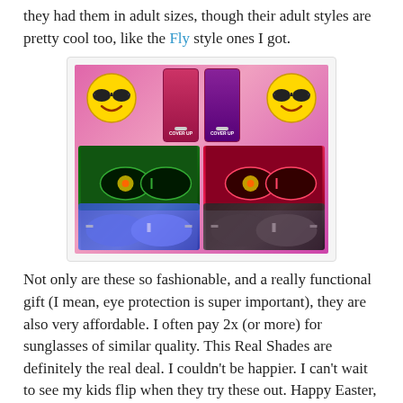they had them in adult sizes, though their adult styles are pretty cool too, like the Fly style ones I got.
[Figure (photo): Photo of sunglasses products on a pink background, including two smiley face emoji plushies wearing sunglasses, two packaged sunglasses (Real Shades brand, Cover Up style), two packaged color-changing flower sunglasses, and two pairs of aviator sunglasses (one blue mirrored, one black).]
Not only are these so fashionable, and a really functional gift (I mean, eye protection is super important), they are also very affordable. I often pay 2x (or more) for sunglasses of similar quality. This Real Shades are definitely the real deal. I couldn't be happier. I can't wait to see my kids flip when they try these out. Happy Easter, everyone.